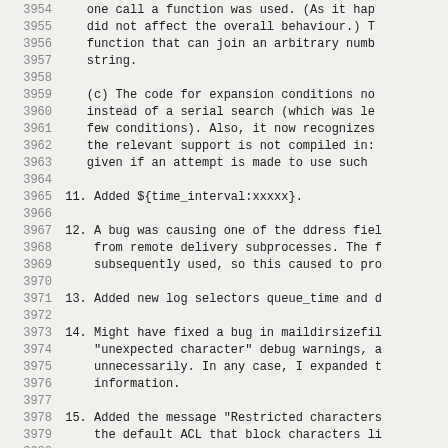3954    one call a function was used. (As it hap
3955    did not affect the overall behaviour.) T
3956    function that can join an arbitrary numb
3957    string.
3958
3959    (c) The code for expansion conditions no
3960    instead of a serial search (which was le
3961    few conditions). Also, it now recognizes
3962    the relevant support is not compiled in:
3963    given if an attempt is made to use such
3964
3965 11. Added ${time_interval:xxxxx}.
3966
3967 12. A bug was causing one of the ddress fiel
3968    from remote delivery subprocesses. The f
3969    subsequently used, so this caused to pro
3970
3971 13. Added new log selectors queue_time and d
3972
3973 14. Might have fixed a bug in maildirsizefil
3974    "unexpected character" debug warnings, a
3975    unnecessarily. In any case, I expanded t
3976    information.
3977
3978 15. Added the message "Restricted characters
3979    the default ACL that block characters li
3980
3981 16. Change 71 for release 4.31 proved to be
3982    Three changes have been made:
3983
3984    (a) There was a serious bug; a negative
3985        recipient domain to be cached as inv
3986    to all local parts at the same doma